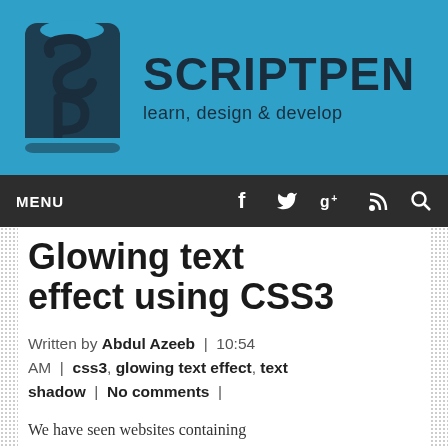[Figure (logo): ScriptPen website logo: dark teal 'SP' icon with stylized pen/script letterform, text 'SCRIPTPEN' in bold dark letters, tagline 'learn, design & develop' below, on a blue background]
MENU  f  t  g+  RSS  Search
Glowing text effect using CSS3
Written by Abdul Azeeb | 10:54 AM | css3, glowing text effect, text shadow | No comments |
We have seen websites containing